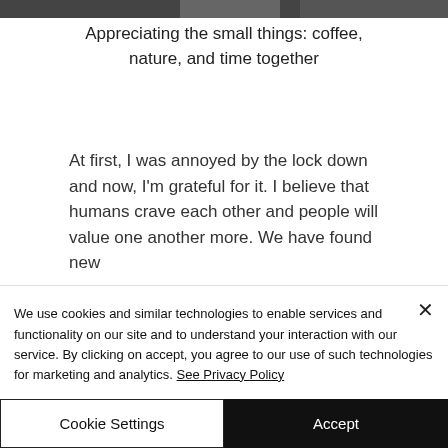[Figure (photo): Partial photo visible at top of page, dark/muted tones]
Appreciating the small things: coffee, nature, and time together
At first, I was annoyed by the lock down and now, I'm grateful for it. I believe that humans crave each other and people will value one another more. We have found new
We use cookies and similar technologies to enable services and functionality on our site and to understand your interaction with our service. By clicking on accept, you agree to our use of such technologies for marketing and analytics. See Privacy Policy
Cookie Settings
Accept